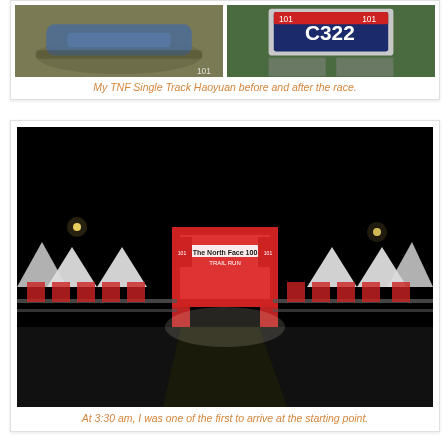[Figure (photo): Two photos side by side: left shows running shoes on grass, right shows runner's feet with race bib C322 and a finish line area]
My TNF Single Track Haoyuan before and after the race.
[Figure (photo): Night photo of a race starting area with an illuminated arch/gantry, tents on both sides, dark sky]
At 3:30 am, I was one of the first to arrive at the starting point.
The sun rose a bit late during the race day. But when it did, it exhausted all the runners who couldn't get to the finish line by noon. I was expecting a shady location as it was a national park. But I guess it was just the wrong time of year. The trees were all bare and the trail was open and dry. To make things worse, many parts were paved roads!
[Figure (photo): Outdoor photo showing trees and sky, partially visible at bottom of page]